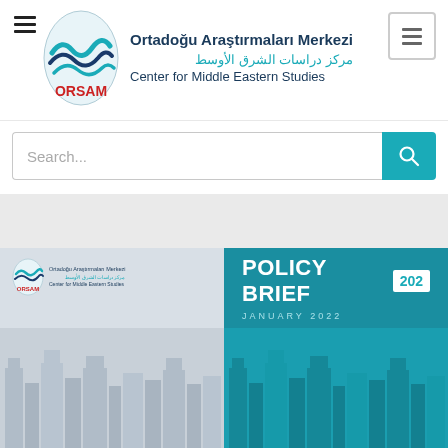[Figure (logo): ORSAM - Ortadoğu Araştırmaları Merkezi / Center for Middle Eastern Studies logo with Turkish, Arabic, and English text]
[Figure (screenshot): Search bar with teal search button and magnifying glass icon]
[Figure (screenshot): Document card showing ORSAM Policy Brief 202, January 2022 with teal header and city skyline imagery]